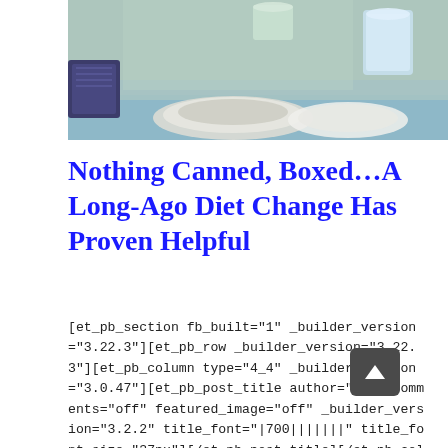[Figure (photo): Photo of food items including bowls, a cup, and a mug on a teal/light blue surface, cropped at top of page]
Nothing Canned, Boxed…A Long-Ago Diet Change Has Proven Helpful
[et_pb_section fb_built="1" _builder_version="3.22.3"][et_pb_row _builder_version="3.22.3"][et_pb_column type="4_4" _builder_version="3.0.47"][et_pb_post_title author="off" comments="off" featured_image="off" _builder_version="3.2.2" title_font="|700||||||" title_font_size="37px"][/et_pb_post_title][/et_pb_column][/et_pb_row][et_pb_row _builder_version="3.22.3" background_size="initial" background_position="top_left" background_repeat="repeat"][et_pb_column